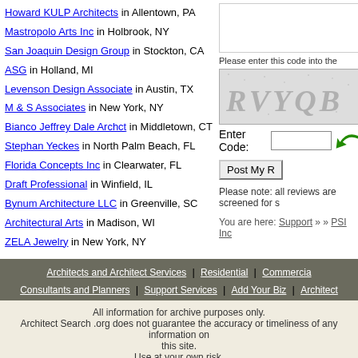Howard KULP Architects in Allentown, PA
Mastropolo Arts Inc in Holbrook, NY
San Joaquin Design Group in Stockton, CA
ASG in Holland, MI
Levenson Design Associate in Austin, TX
M & S Associates in New York, NY
Bianco Jeffrey Dale Archct in Middletown, CT
Stephan Yeckes in North Palm Beach, FL
Florida Concepts Inc in Clearwater, FL
Draft Professional in Winfield, IL
Bynum Architecture LLC in Greenville, SC
Architectural Arts in Madison, WI
ZELA Jewelry in New York, NY
Please enter this code into the
[Figure (other): CAPTCHA image showing letters RVYQB in stylized gray text on a speckled background]
Enter Code:
Post My
Please note: all reviews are screened for s
You are here: Support » » PSI Inc
Architects and Architect Services | Residential | Commercial | Consultants and Planners | Support Services | Add Your Biz | Architect
All information for archive purposes only. Architect Search .org does not guarantee the accuracy or timeliness of any information on this site. Use at your own risk.